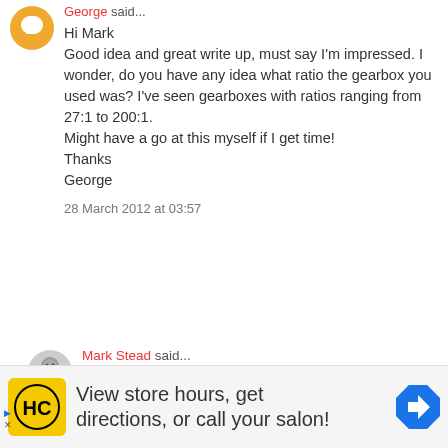George said...
Hi Mark
Good idea and great write up, must say I'm impressed. I wonder, do you have any idea what ratio the gearbox you used was? I've seen gearboxes with ratios ranging from 27:1 to 200:1.
Might have a go at this myself if I get time!
Thanks
George
28 March 2012 at 03:57
Mark Stead said...
@George: The final ratio is 256:1.

I guess you need to be flexible based on the size of your motor versus the weight/friction of
View store hours, get directions, or call your salon!